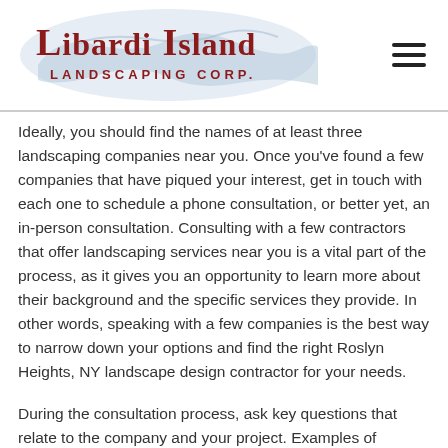[Figure (logo): Libardi Island Landscaping Corp. logo with light blue watermark of Long Island map behind red serif text]
Ideally, you should find the names of at least three landscaping companies near you. Once you've found a few companies that have piqued your interest, get in touch with each one to schedule a phone consultation, or better yet, an in-person consultation. Consulting with a few contractors that offer landscaping services near you is a vital part of the process, as it gives you an opportunity to learn more about their background and the specific services they provide. In other words, speaking with a few companies is the best way to narrow down your options and find the right Roslyn Heights, NY landscape design contractor for your needs.
During the consultation process, ask key questions that relate to the company and your project. Examples of questions you might want to